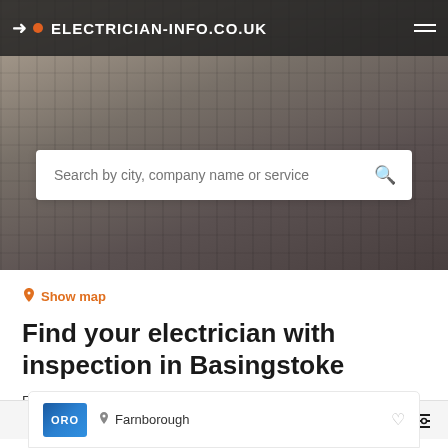ELECTRICIAN-INFO.CO.UK
[Figure (screenshot): Hero background image of electrical panel/wiring with search bar overlay]
Search by city, company name or service
Show map
Find your electrician with inspection in Basingstoke
Find the best electrician with inspection in Basingstoke based on your criteria.
Filters
Farnborough